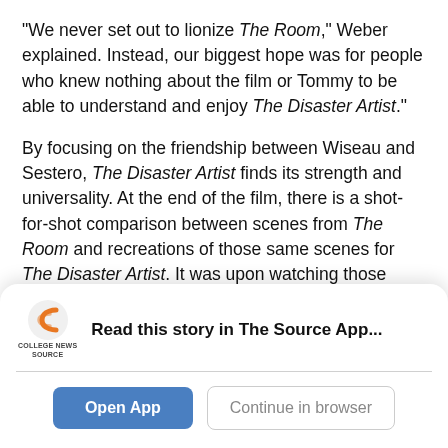"We never set out to lionize The Room," Weber explained. Instead, our biggest hope was for people who knew nothing about the film or Tommy to be able to understand and enjoy The Disaster Artist."
By focusing on the friendship between Wiseau and Sestero, The Disaster Artist finds its strength and universality. At the end of the film, there is a shot-for-shot comparison between scenes from The Room and recreations of those same scenes for The Disaster Artist. It was upon watching those imperfect parallels that I realized the film was not some sort of Disney live-action remake of The Room. Rather, the film
[Figure (logo): College News Source logo — stylized orange 'C' shape icon above text reading COLLEGE NEWS SOURCE]
Read this story in The Source App...
Open App
Continue in browser